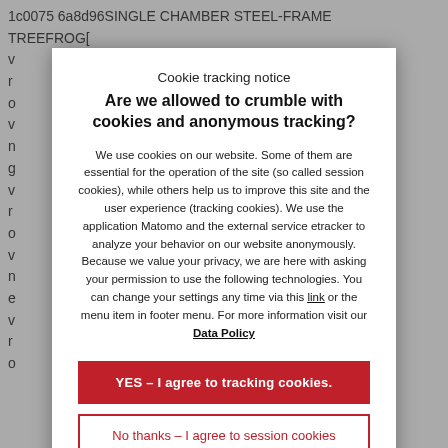1c0075 6a8d96SINGLE CHAMBER STEEL-FRAME TREEFROG...
Cookie tracking notice
Are we allowed to crumble with cookies and anonymous tracking?
We use cookies on our website. Some of them are essential for the operation of the site (so called session cookies), while others help us to improve this site and the user experience (tracking cookies). We use the application Matomo and the external service etracker to analyze your behavior on our website anonymously. Because we value your privacy, we are here with asking your permission to use the following technologies. You can change your settings any time via this link or the menu item in footer menu. For more information visit our Data Policy
YES – I agree to tracking cookies.
No thanks – I agree to session cookies